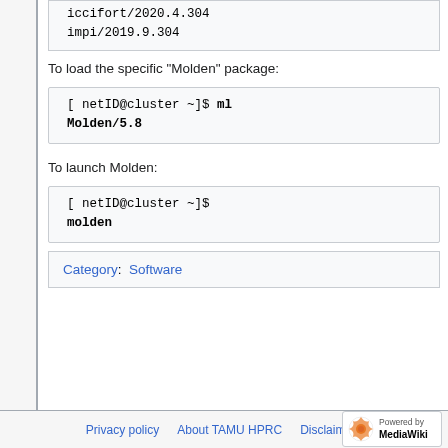iccifort/2020.4.304
impi/2019.9.304
To load the specific "Molden" package:
[ netID@cluster ~]$ ml Molden/5.8
To launch Molden:
[ netID@cluster ~]$ molden
Category:  Software
Privacy policy  About TAMU HPRC  Disclaimers